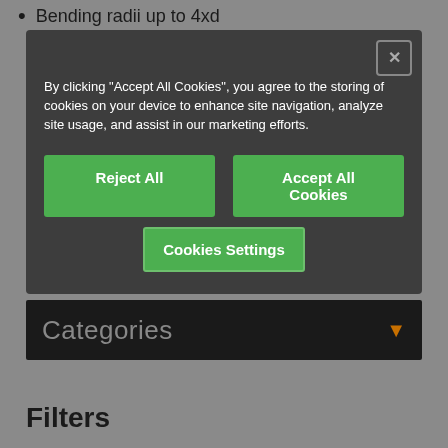Bending radii up to 4xd
By clicking “Accept All Cookies”, you agree to the storing of cookies on your device to enhance site navigation, analyze site usage, and assist in our marketing efforts.
Reject All
Accept All Cookies
Cookies Settings
Categories
Filters